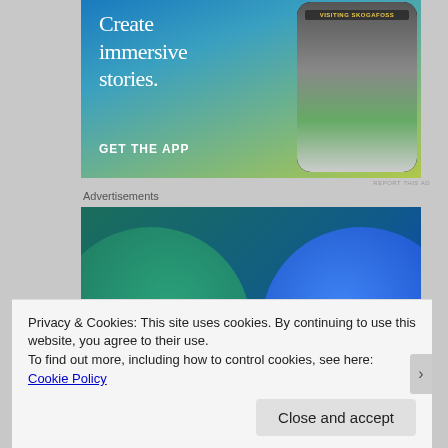[Figure (illustration): Advertisement banner with teal-to-yellow gradient background showing text 'Create immersive stories.' and 'GET THE APP' with a phone mockup showing 'VISITING SKOGAFOSS' on screen]
REPORT THIS AD
Advertisements
[Figure (illustration): Advertisement banner with dark teal and blue gradient background showing two large overlapping circles (green left, blue right) with text 'Everything' and 'Anything' at the bottom]
Privacy & Cookies: This site uses cookies. By continuing to use this website, you agree to their use.
To find out more, including how to control cookies, see here: Cookie Policy
Close and accept